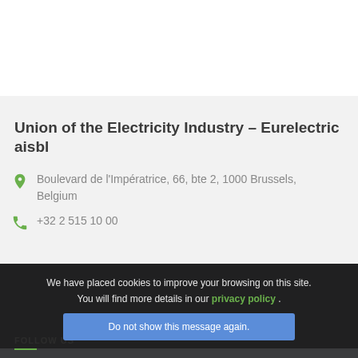Union of the Electricity Industry – Eurelectric aisbl
Boulevard de l'Impératrice, 66, bte 2, 1000 Brussels, Belgium
+32 2 515 10 00
FOLLOW US
[Figure (infographic): Social media icons: Twitter, LinkedIn, YouTube]
We have placed cookies to improve your browsing on this site. You will find more details in our privacy policy .
Do not show this message again.